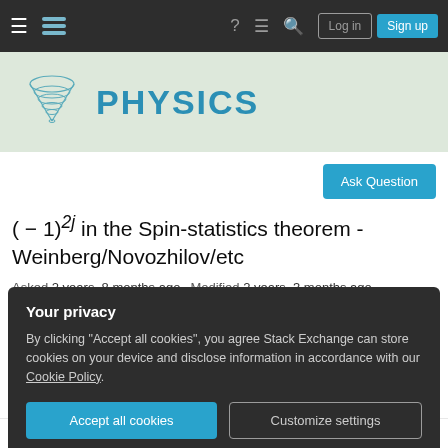Physics Stack Exchange navigation bar with hamburger menu, logo, help, chat, search, Log in, Sign up
[Figure (logo): Physics Stack Exchange banner with cone/hourglass logo and PHYSICS text in teal]
Ask Question
( − 1)^{2j} in the Spin-statistics theorem - Weinberg/Novozhilov/etc
Asked 2 years, 8 months ago   Modified 2 years, 3 months ago
Viewed 391 times
Your privacy
By clicking "Accept all cookies", you agree Stack Exchange can store cookies on your device and disclose information in accordance with our Cookie Policy.
Accept all cookies   Customize settings
"Feynman rules for any spin I-III," as well as